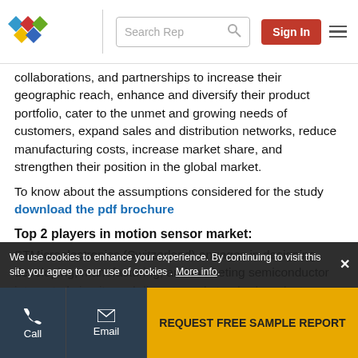Search Rep | Sign In
collaborations, and partnerships to increase their geographic reach, enhance and diversify their product portfolio, cater to the unmet and growing needs of customers, expand sales and distribution networks, reduce manufacturing costs, increase market share, and strengthen their position in the global market.
To know about the assumptions considered for the study download the pdf brochure
Top 2 players in motion sensor market:
STMicroelectronics (Switzerland) engages in designing, developing, manufacturing, and marketing semiconductor integrated circuits and discrete and standard products...
We use cookies to enhance your experience. By continuing to visit this site you agree to our use of cookies . More info.
Call | Email | REQUEST FREE SAMPLE REPORT